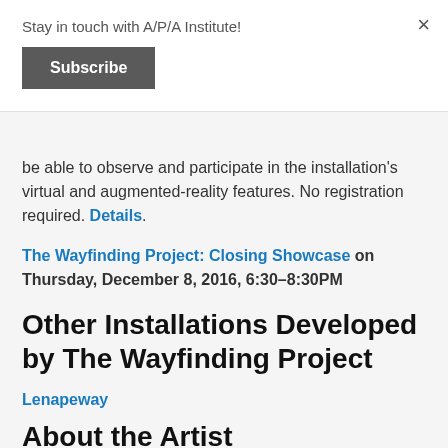Stay in touch with A/P/A Institute!
Subscribe
be able to observe and participate in the installation’s virtual and augmented-reality features. No registration required. Details.
The Wayfinding Project: Closing Showcase on Thursday, December 8, 2016, 6:30–8:30PM
Other Installations Developed by The Wayfinding Project
Lenapeway
About the Artist